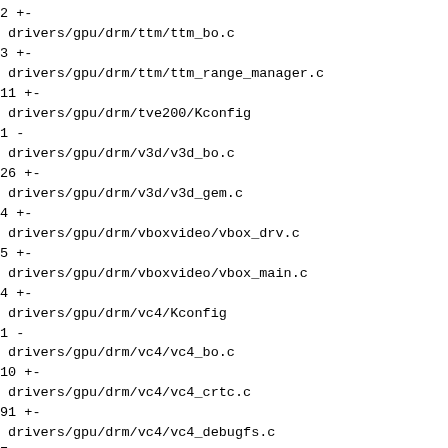2 +-
 drivers/gpu/drm/ttm/ttm_bo.c                             |
3 +-
 drivers/gpu/drm/ttm/ttm_range_manager.c                  |
11 +-
 drivers/gpu/drm/tve200/Kconfig                           |
1 -
 drivers/gpu/drm/v3d/v3d_bo.c                             |
26 +-
 drivers/gpu/drm/v3d/v3d_gem.c                            |
4 +-
 drivers/gpu/drm/vboxvideo/vbox_drv.c                     |
5 +-
 drivers/gpu/drm/vboxvideo/vbox_main.c                    |
4 +-
 drivers/gpu/drm/vc4/Kconfig                              |
1 -
 drivers/gpu/drm/vc4/vc4_bo.c                             |
10 +-
 drivers/gpu/drm/vc4/vc4_crtc.c                          |
91 +-
 drivers/gpu/drm/vc4/vc4_debugfs.c                       |
7 +-
 drivers/gpu/drm/vc4/vc4_drv.h                           |
37 +-
 drivers/gpu/drm/vc4/vc4_hdmi.c                          |
630 ++++--
 drivers/gpu/drm/vc4/vc4_hdmi.h                          |
37 +
 drivers/gpu/drm/vc4/vc4_hdmi_phy.c                      |